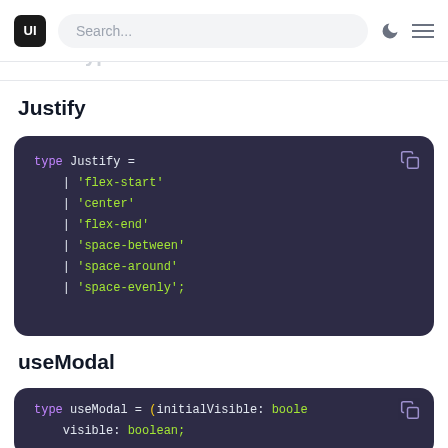UI | Search... | [moon icon] [menu icon]
Justify
[Figure (screenshot): Dark code block showing TypeScript type definition: type Justify = | 'flex-start' | 'center' | 'flex-end' | 'space-between' | 'space-around' | 'space-evenly';]
useModal
[Figure (screenshot): Dark code block showing TypeScript type definition: type useModal = (initialVisible: boole... visible: boolean;]